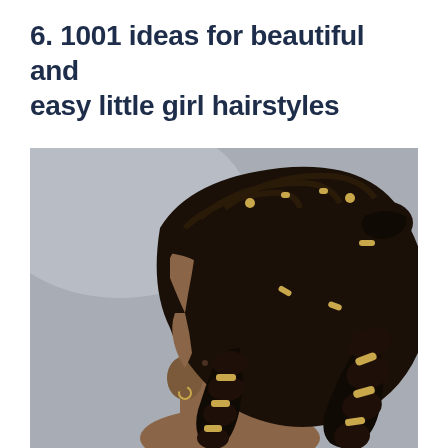6. 1001 ideas for beautiful and easy little girl hairstyles
[Figure (photo): A young Black girl photographed from the side-back, showing an elaborate hairstyle consisting of multiple braids adorned with gold metallic hair rings/beads, styled into chunky braided sections with small bun at top and braids hanging down. Hair is black, background is grey.]